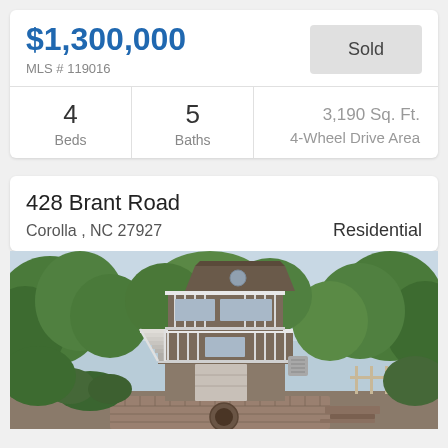$1,300,000
MLS # 119016
Sold
4 Beds
5 Baths
3,190 Sq. Ft. 4-Wheel Drive Area
428 Brant Road
Corolla , NC 27927
Residential
[Figure (photo): Exterior photo of a multi-story beach house with white railings and decks, surrounded by green trees, with a brick patio and fire pit in the foreground.]